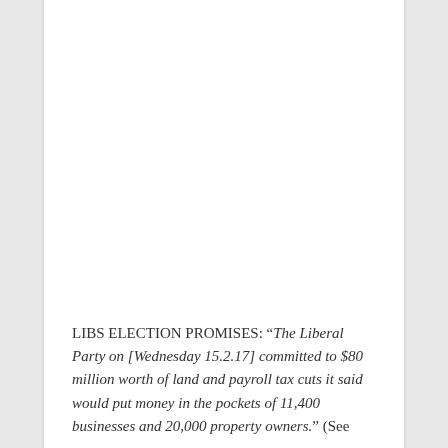LIBS ELECTION PROMISES: “The Liberal Party on [Wednesday 15.2.17] committed to $80 million worth of land and payroll tax cuts it said would put money in the pockets of 11,400 businesses and 20,000 property owners.” (See